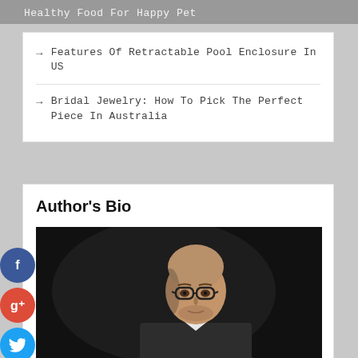Healthy Food For Happy Pet
Features Of Retractable Pool Enclosure In US
Bridal Jewelry: How To Pick The Perfect Piece In Australia
Author's Bio
[Figure (photo): Portrait photo of a bald man wearing glasses and a dark suit jacket with white shirt, against a dark background]